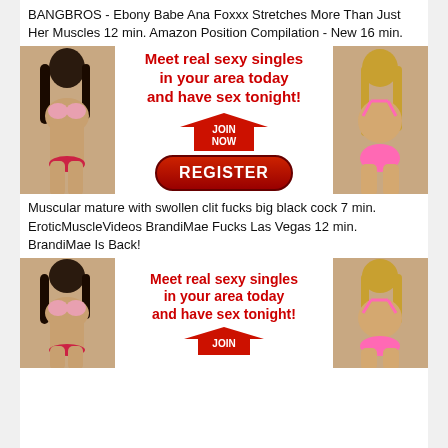BANGBROS - Ebony Babe Ana Foxxx Stretches More Than Just Her Muscles 12 min. Amazon Position Compilation - New 16 min.
[Figure (infographic): Dating site advertisement banner with two women figures on left and right, red bold text 'Meet real sexy singles in your area today and have sex tonight!', a red arrow JOIN NOW graphic, and a red REGISTER button.]
Muscular mature with swollen clit fucks big black cock 7 min. EroticMuscleVideos BrandiMae Fucks Las Vegas 12 min. BrandiMae Is Back!
[Figure (infographic): Dating site advertisement banner (partial) with two women figures on left and right, red bold text 'Meet real sexy singles in your area today and have sex tonight!', and a red arrow JOIN graphic partially visible.]